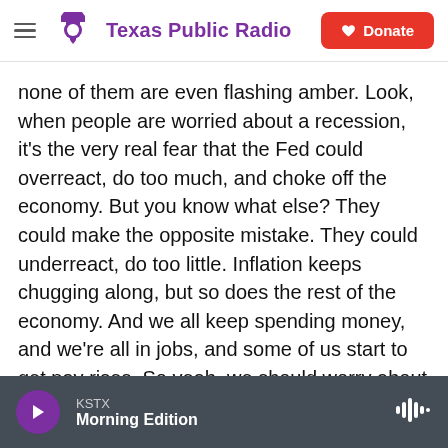Texas Public Radio
none of them are even flashing amber. Look, when people are worried about a recession, it's the very real fear that the Fed could overreact, do too much, and choke off the economy. But you know what else? They could make the opposite mistake. They could underreact, do too little. Inflation keeps chugging along, but so does the rest of the economy. And we all keep spending money, and we're all in jobs, and some of us start to get pay rises. So yeah, we should worry about the downside, but let's acknowledge there's an equal and opposite upside, too.
KSTX Morning Edition